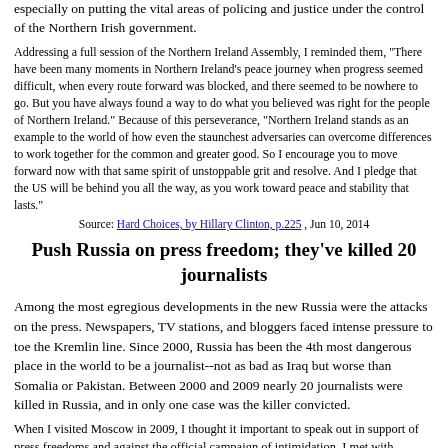especially on putting the vital areas of policing and justice under the control of the Northern Irish government.
Addressing a full session of the Northern Ireland Assembly, I reminded them, "There have been many moments in Northern Ireland's peace journey when progress seemed difficult, when every route forward was blocked, and there seemed to be nowhere to go. But you have always found a way to do what you believed was right for the people of Northern Ireland." Because of this perseverance, "Northern Ireland stands as an example to the world of how even the staunchest adversaries can overcome differences to work together for the common and greater good. So I encourage you to move forward now with that same spirit of unstoppable grit and resolve. And I pledge that the US will be behind you all the way, as you work toward peace and stability that lasts."
Source: Hard Choices, by Hillary Clinton, p.225 , Jun 10, 2014
Push Russia on press freedom; they've killed 20 journalists
Among the most egregious developments in the new Russia were the attacks on the press. Newspapers, TV stations, and bloggers faced intense pressure to toe the Kremlin line. Since 2000, Russia has been the 4th most dangerous place in the world to be a journalist--not as bad as Iraq but worse than Somalia or Pakistan. Between 2000 and 2009 nearly 20 journalists were killed in Russia, and in only one case was the killer convicted.
When I visited Moscow in 2009, I thought it important to speak out in support of press freedoms and against the official campaign of intimidation. I met with journalists, lawyers, and other civil society leaders, including one activist who told